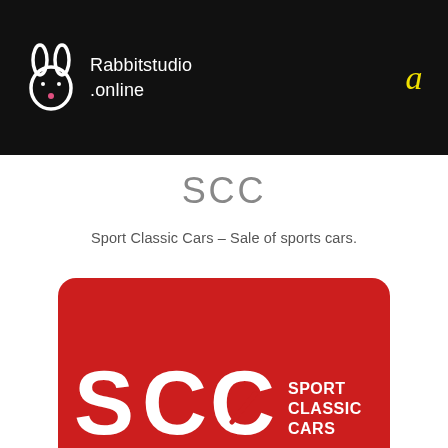Rabbitstudio.online  a
SCC
Sport Classic Cars – Sale of sports cars.
[Figure (logo): Sport Classic Cars (SCC) logo: white stylized letters 'SCC' with a speedometer needle integrated into the second C, accompanied by text 'SPORT CLASSIC CARS' on a red rounded-rectangle background.]